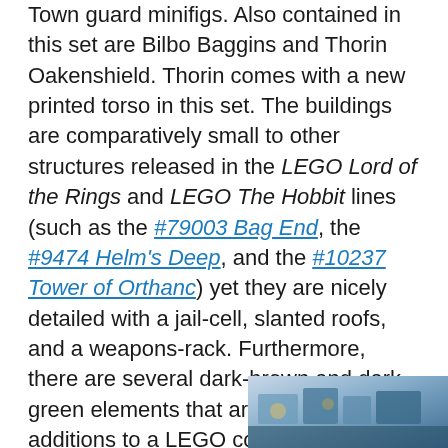Town guard minifigs. Also contained in this set are Bilbo Baggins and Thorin Oakenshield. Thorin comes with a new printed torso in this set. The buildings are comparatively small to other structures released in the LEGO Lord of the Rings and LEGO The Hobbit lines (such as the #79003 Bag End, the #9474 Helm's Deep, and the #10237 Tower of Orthanc) yet they are nicely detailed with a jail-cell, slanted roofs, and a weapons-rack. Furthermore, there are several dark-brown and dark-green elements that are always a useful additions to a LEGO collection. A small Lake Town boat is included as well.
[Figure (photo): Partial image visible in the bottom-right corner of the page, appearing to show a LEGO set or product.]